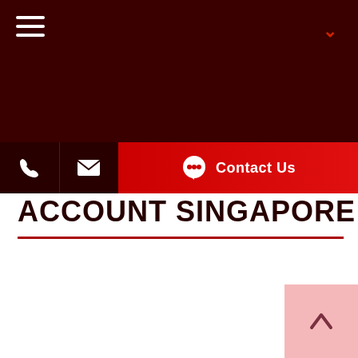[Figure (screenshot): Dark maroon website header background with hamburger menu icon on top left and chevron/dropdown indicator on top right]
[Figure (screenshot): Navigation bar with phone icon and email icon on dark background (left), and red Contact Us button with chat bubble icon (right)]
ACCOUNT SINGAPORE
[Figure (screenshot): Back to top button (arrow up) in light pink/rose color at bottom right corner]